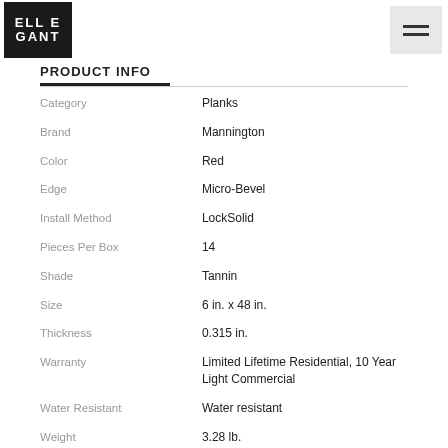ELLE GANT logo and hamburger menu
PRODUCT INFO
| Attribute | Value |
| --- | --- |
| Category | Planks |
| Brand | Mannington |
| Color | Red |
| Edge | Micro-Bevel |
| Install Method | LockSolid |
| Pieces Per Box | 14 |
| Shade | Tannin |
| Size | 6 in. x 48 in. |
| Thickness | 0.315 in. |
| Warranty | Limited Lifetime Residential, 10 Year Light Commercial |
| Water Resistant | Water resistant |
| Weight | 3.28 lb. |
| Coverage | 27.39 sq. ft. per case |